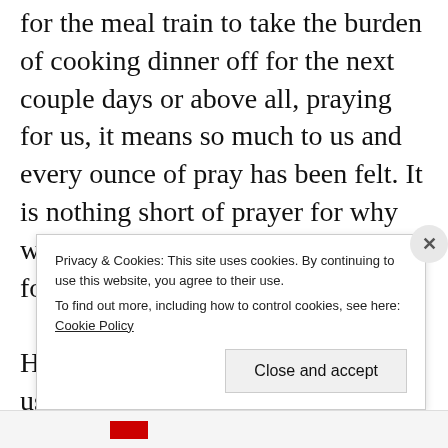for the meal train to take the burden of cooking dinner off for the next couple days or above all, praying for us, it means so much to us and every ounce of pray has been felt. It is nothing short of prayer for why we are heading home already. So for that we are thankful.

How you can continue to pray for us over the next couple of days/weeks: pray that his pain
Privacy & Cookies: This site uses cookies. By continuing to use this website, you agree to their use.
To find out more, including how to control cookies, see here: Cookie Policy
Close and accept